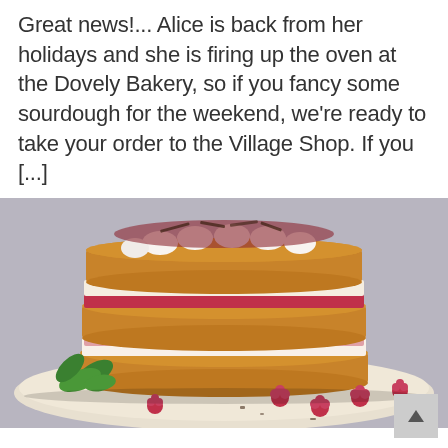Great news!... Alice is back from her holidays and she is firing up the oven at the Dovely Bakery, so if you fancy some sourdough for the weekend, we're ready to take your order to the Village Shop. If you [...]
[Figure (photo): A layered sponge cake with whipped cream, raspberry jam filling, fresh raspberries scattered on a white plate, topped with cream rosettes and chocolate shavings, garnished with mint leaves]